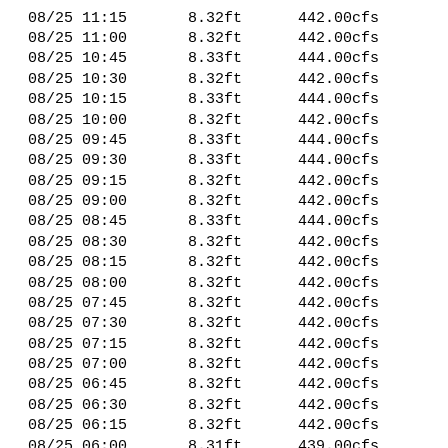| DateTime | Stage | Flow |
| --- | --- | --- |
| 08/25 11:15 | 8.32ft | 442.00cfs |
| 08/25 11:00 | 8.32ft | 442.00cfs |
| 08/25 10:45 | 8.33ft | 444.00cfs |
| 08/25 10:30 | 8.32ft | 442.00cfs |
| 08/25 10:15 | 8.33ft | 444.00cfs |
| 08/25 10:00 | 8.32ft | 442.00cfs |
| 08/25 09:45 | 8.33ft | 444.00cfs |
| 08/25 09:30 | 8.33ft | 444.00cfs |
| 08/25 09:15 | 8.32ft | 442.00cfs |
| 08/25 09:00 | 8.32ft | 442.00cfs |
| 08/25 08:45 | 8.33ft | 444.00cfs |
| 08/25 08:30 | 8.32ft | 442.00cfs |
| 08/25 08:15 | 8.32ft | 442.00cfs |
| 08/25 08:00 | 8.32ft | 442.00cfs |
| 08/25 07:45 | 8.32ft | 442.00cfs |
| 08/25 07:30 | 8.32ft | 442.00cfs |
| 08/25 07:15 | 8.32ft | 442.00cfs |
| 08/25 07:00 | 8.32ft | 442.00cfs |
| 08/25 06:45 | 8.32ft | 442.00cfs |
| 08/25 06:30 | 8.32ft | 442.00cfs |
| 08/25 06:15 | 8.32ft | 442.00cfs |
| 08/25 06:00 | 8.31ft | 439.00cfs |
| 08/25 05:45 | 8.31ft | 439.00cfs |
| 08/25 05:30 | 8.32ft | 442.00cfs |